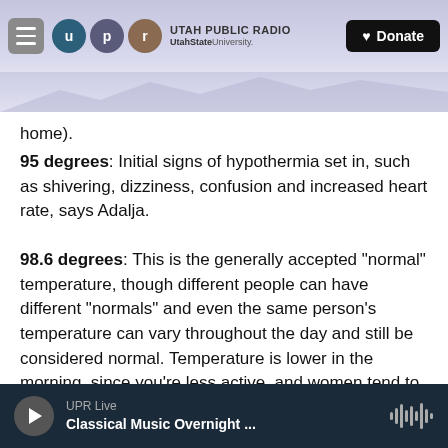Utah Public Radio — UtahState University | Donate
home).
95 degrees: Initial signs of hypothermia set in, such as shivering, dizziness, confusion and increased heart rate, says Adalja.
98.6 degrees: This is the generally accepted "normal" temperature, though different people can have different "normals" and even the same person's temperature can vary throughout the day and still be considered normal. Temperature is lower in the morning, since you're less active, and women tend to have slightly (less than half a
UPR Live — Classical Music Overnight ...